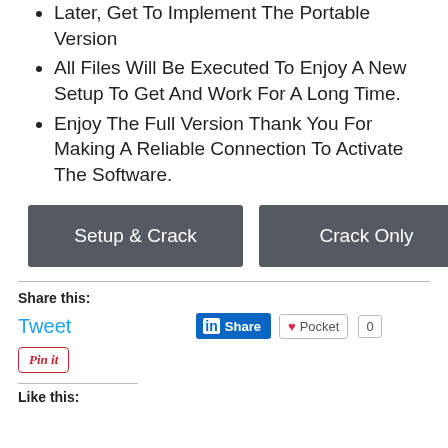Later, Get To Implement The Portable Version
All Files Will Be Executed To Enjoy A New Setup To Get And Work For A Long Time.
Enjoy The Full Version Thank You For Making A Reliable Connection To Activate The Software.
[Figure (other): Two dark gray buttons labeled 'Setup & Crack' and 'Crack Only']
Share this:
Tweet
Share (LinkedIn)
Pocket 0
Pin it (Pinterest)
Like this: